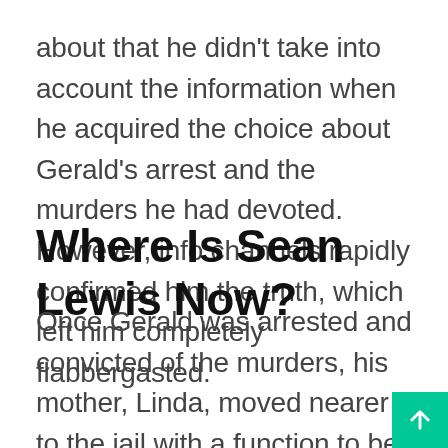about that he didn't take into account the information when he acquired the choice about Gerald's arrest and the murders he had devoted. However, info channels rapidly confirmed him the truth, which left him completely flabbergasted.
Where Is Sean Lewis Now?
Once Gerald was arrested and convicted of the murders, his mother, Linda, moved nearer to the jail with a function to be near her elder son. Witnessing Linda's love for Gerald alienated Sean from their mother, and the two rarely spoke for years. Moreover, the current talked about that when Gerald died in 2009 wherea